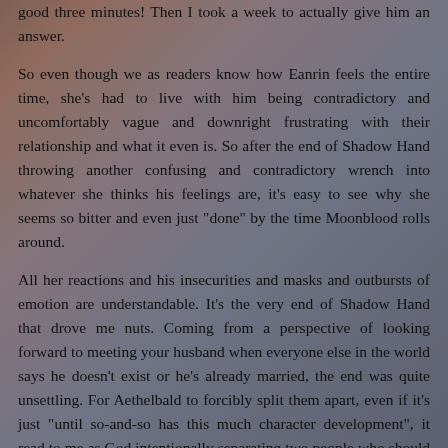good three minutes! Then I took a week to actually give him an answer.
So even though we as readers know how Eanrin feels the entire time, she's had to live with him being contradictory and uncomfortably vague and downright frustrating with their relationship and what it even is. So after the end of Shadow Hand throwing another confusing and contradictory wrench into whatever she thinks his feelings are, it's easy to see why she seems so bitter and even just "done" by the time Moonblood rolls around.
All her reactions and his insecurities and masks and outbursts of emotion are understandable. It's the very end of Shadow Hand that drove me nuts. Coming from a perspective of looking forward to meeting your husband when everyone else in the world says he doesn't exist or he's already married, the end was quite unsettling. For Aethelbald to forcibly split them apart, even if it's just "until so-and-so has this much character development", it read to me as God intentionally separating two people who should obviously be together, and their dynamic has been building for so long, well, what was left of my hope got crushed